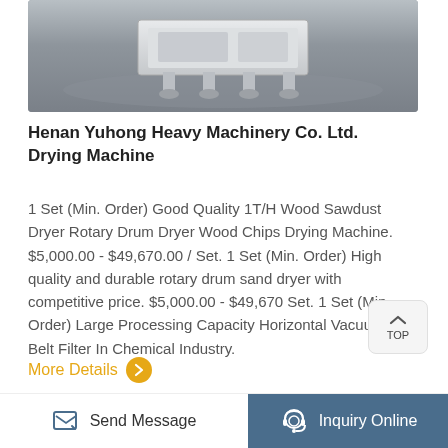[Figure (photo): Top portion of industrial machinery on gray floor, showing white metal structure with support legs]
Henan Yuhong Heavy Machinery Co. Ltd. Drying Machine
1 Set (Min. Order) Good Quality 1T/H Wood Sawdust Dryer Rotary Drum Dryer Wood Chips Drying Machine. $5,000.00 - $49,670.00 / Set. 1 Set (Min. Order) High quality and durable rotary drum sand dryer with competitive price. $5,000.00 - $49,670 Set. 1 Set (Min. Order) Large Processing Capacity Horizontal Vacuum Belt Filter In Chemical Industry.
More Details
[Figure (photo): Industrial machinery in a factory setting, showing large circular wheel/drum components with orange and white rings, Chinese text banner visible in background]
Send Message   Inquiry Online